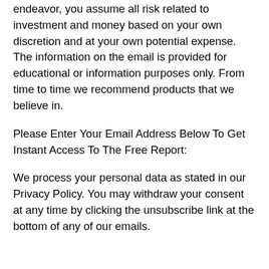endeavor, you assume all risk related to investment and money based on your own discretion and at your own potential expense. The information on the email is provided for educational or information purposes only. From time to time we recommend products that we believe in.
Please Enter Your Email Address Below To Get Instant Access To The Free Report:
We process your personal data as stated in our Privacy Policy. You may withdraw your consent at any time by clicking the unsubscribe link at the bottom of any of our emails.